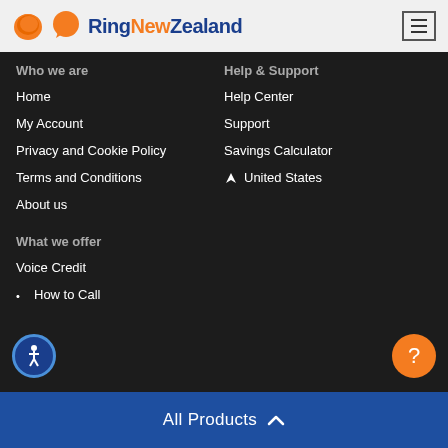[Figure (logo): RingNewZealand logo with orange chat bubble icon and blue text]
Who we are
Home
My Account
Privacy and Cookie Policy
Terms and Conditions
About us
What we offer
Voice Credit
Help & Support
Help Center
Support
Savings Calculator
United States
How to Call
All Products